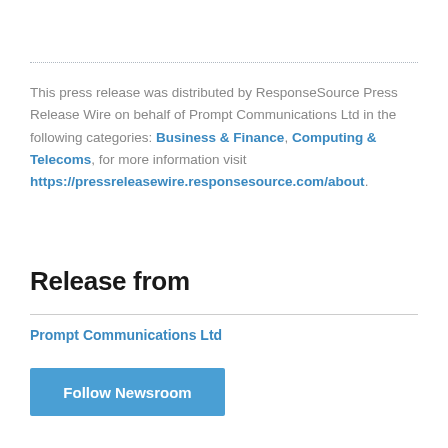This press release was distributed by ResponseSource Press Release Wire on behalf of Prompt Communications Ltd in the following categories: Business & Finance, Computing & Telecoms, for more information visit https://pressreleasewire.responsesource.com/about.
Release from
Prompt Communications Ltd
Follow Newsroom